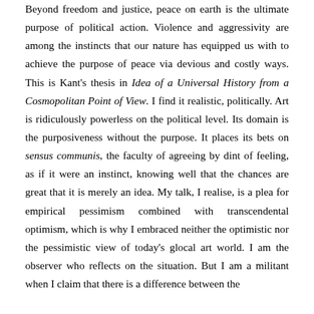Beyond freedom and justice, peace on earth is the ultimate purpose of political action. Violence and aggressivity are among the instincts that our nature has equipped us with to achieve the purpose of peace via devious and costly ways. This is Kant's thesis in Idea of a Universal History from a Cosmopolitan Point of View. I find it realistic, politically. Art is ridiculously powerless on the political level. Its domain is the purposiveness without the purpose. It places its bets on sensus communis, the faculty of agreeing by dint of feeling, as if it were an instinct, knowing well that the chances are great that it is merely an idea. My talk, I realise, is a plea for empirical pessimism combined with transcendental optimism, which is why I embraced neither the optimistic nor the pessimistic view of today's glocal art world. I am the observer who reflects on the situation. But I am a militant when I claim that there is a difference between the